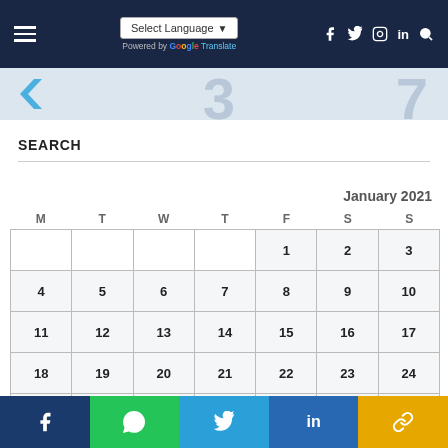Select Language | Powered by Google Translate | Social icons
[Figure (screenshot): Banner strip with partial numbers and chevron graphic]
SEARCH
| M | T | W | T | F | S | S |
| --- | --- | --- | --- | --- | --- | --- |
|  |  |  |  | 1 | 2 | 3 |
| 4 | 5 | 6 | 7 | 8 | 9 | 10 |
| 11 | 12 | 13 | 14 | 15 | 16 | 17 |
| 18 | 19 | 20 | 21 | 22 | 23 | 24 |
| 25 | 26 | 27 | 28 | 29 | 30 | 31 |
January 2021
Facebook | WhatsApp | Twitter | LinkedIn | Link